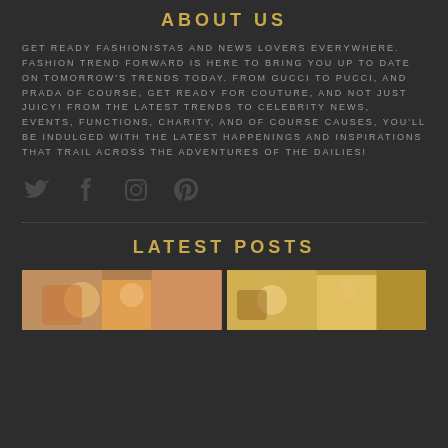ABOUT US
GET READY FASHIONISTAS AND NEWS LOVERS EVERYWHERE. FASHION TREND FORWARD IS HERE TO BRING YOU UP TO DATE ON TOMORROW'S TRENDS TODAY. FROM GUCCI TO PUCCI, AND PRADA OF COURSE, GET READY FOR COUTURE, AND NOT JUST JUICY! FROM THE LATEST TRENDS TO CELEBRITY NEWS, EVENTS, FUNCTIONS, CHARITY, AND OF COURSE CAUSES, YOU'LL BE INDULGED WITH THE LATEST HAPPENINGS AND INSPIRATIONS THAT TRAIL ACROSS THE ADVENTURES OF THE DAILIES!
[Figure (infographic): Social media icons: Twitter bird, Facebook f, Instagram camera, Pinterest p]
LATEST POSTS
[Figure (photo): Left thumbnail photo, colorful toy/fashion scene]
[Figure (photo): Right thumbnail photo, colorful toy/fashion scene]